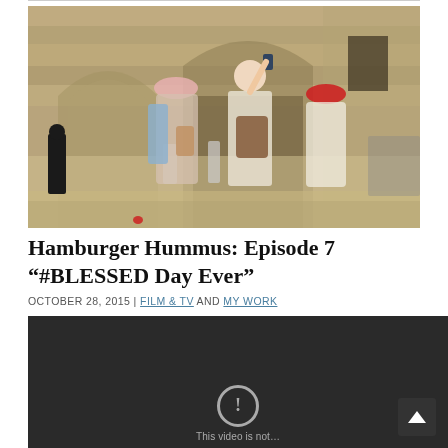[Figure (photo): Tourists taking selfies and photos in what appears to be a stone courtyard in Jerusalem, with ancient stone architecture in the background. A woman in the center holds a phone up for a selfie, another woman to the left wears a pink hat, and a woman to the right wears a red hat.]
Hamburger Hummus: Episode 7 “#BLESSED Day Ever”
OCTOBER 28, 2015 | FILM & TV AND MY WORK
[Figure (screenshot): A dark video player showing an error state with an exclamation mark icon and partial text 'This video is not...']